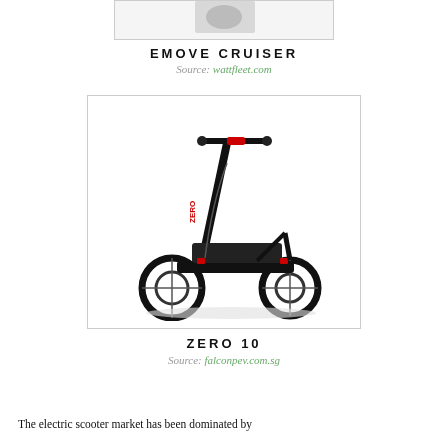[Figure (photo): Partial view of the EMOVE Cruiser electric scooter, cropped at top of page]
EMOVE CRUISER
Source: wattfleet.com
[Figure (photo): Black ZERO 10 electric scooter with red accents, shown in profile view on white background]
ZERO 10
Source: falconpev.com.sg
The electric scooter market has been dominated by